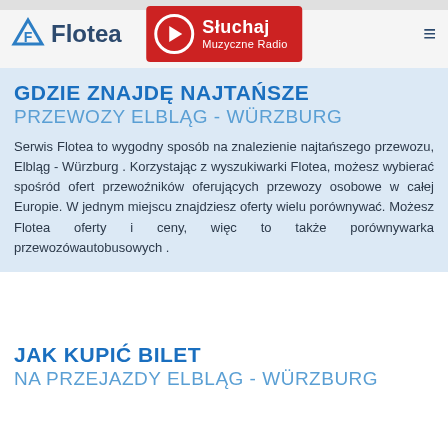Flotea | Słuchaj Muzyczne Radio
GDZIE ZNAJDĘ NAJTAŃSZE PRZEWOZY ELBLĄG - WÜRZBURG
Serwis Flotea to wygodny sposób na znalezienie najtańszego przewozu, Elbląg - Würzburg . Korzystając z wyszukiwarki Flotea, możesz wybierać spośród ofert przewoźników oferujących przewozy osobowe w całej Europie. W jednym miejscu znajdziesz oferty wielu porównywać. Możesz Flotea oferty i ceny, więc to także porównywarka przewozówautobusowych .
JAK KUPIĆ BILET NA PRZEJAZDY ELBLĄG - WÜRZBURG